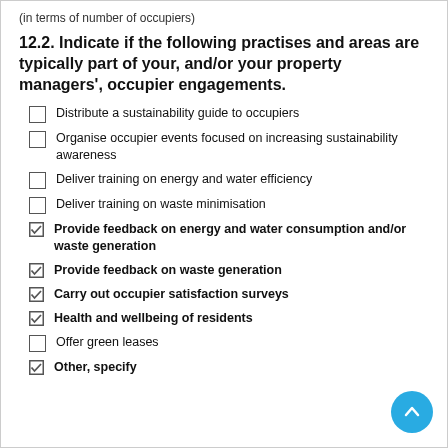(in terms of number of occupiers)
12.2. Indicate if the following practises and areas are typically part of your, and/or your property managers', occupier engagements.
Distribute a sustainability guide to occupiers
Organise occupier events focused on increasing sustainability awareness
Deliver training on energy and water efficiency
Deliver training on waste minimisation
Provide feedback on energy and water consumption and/or waste generation
Provide feedback on waste generation
Carry out occupier satisfaction surveys
Health and wellbeing of residents
Offer green leases
Other, specify